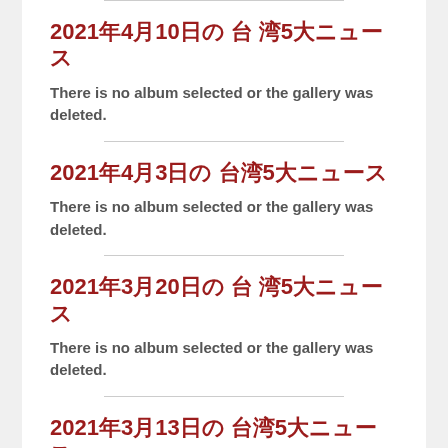2021年4月10日の 台 湾5大ニュース
There is no album selected or the gallery was deleted.
2021年4月3日の 台湾5大ニュース
There is no album selected or the gallery was deleted.
2021年3月20日の 台 湾5大ニュース
There is no album selected or the gallery was deleted.
2021年3月13日の 台湾5大ニュース